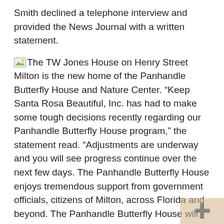Smith declined a telephone interview and provided the News Journal with a written statement.
The TW Jones House on Henry Street Milton is the new home of the Panhandle Butterfly House and Nature Center. “Keep Santa Rosa Beautiful, Inc. has had to make some tough decisions recently regarding our Panhandle Butterfly House program,” the statement read. “Adjustments are underway and you will see progress continue over the next few days. The Panhandle Butterfly House enjoys tremendous support from government officials, citizens of Milton, across Florida and beyond. The Panhandle Butterfly House will become a reality in Milton at the historic Jones House property.
“Unfortunately, there are a few disgruntled volunteers who have been withdrawn,” the statement continued. “These individuals are making false accusations and in possession of property belonging to Keep Santa Rosa Beautiful, Inc. Hopefully they will stop the false accusations and return all intellectual